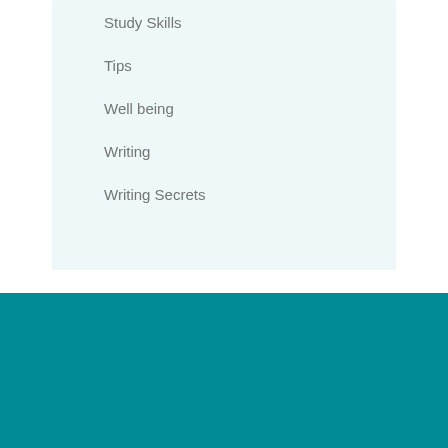Study Skills
Tips
Well being
Writing
Writing Secrets